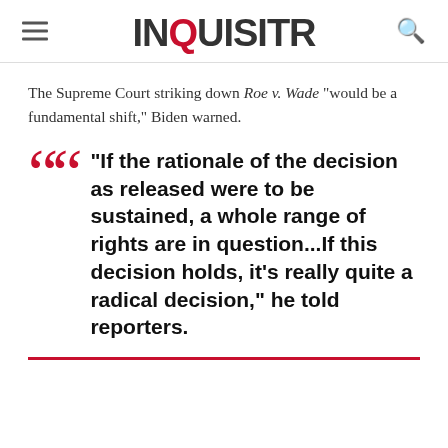INQUISITR
The Supreme Court striking down Roe v. Wade "would be a fundamental shift," Biden warned.
"If the rationale of the decision as released were to be sustained, a whole range of rights are in question...If this decision holds, it's really quite a radical decision," he told reporters.